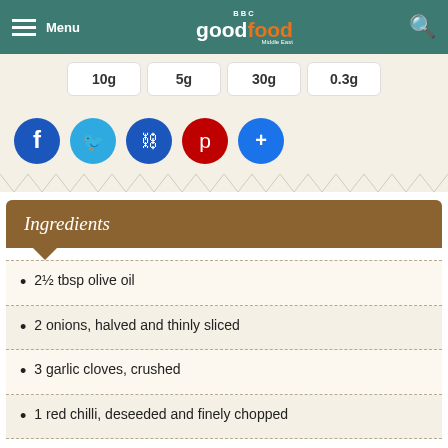BBC Good Food Middle East - Menu / Search
| 10g | 5g | 30g | 0.3g |
[Figure (infographic): Social sharing buttons: Facebook (blue), Twitter (light blue), Link/Copy (blue), Pinterest (red), More (blue)]
Ingredients
2½ tbsp olive oil
2 onions, halved and thinly sliced
3 garlic cloves, crushed
1 red chilli, deseeded and finely chopped